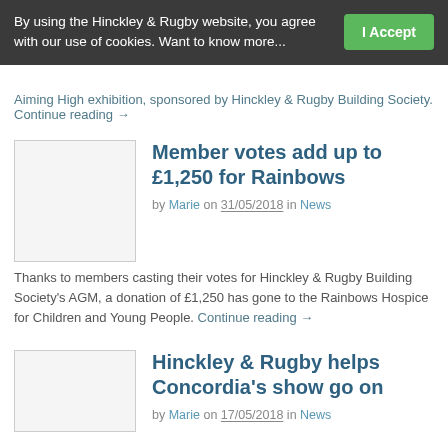By using the Hinckley & Rugby website, you agree with our use of cookies. Want to know more...
I Accept
Aiming High exhibition, sponsored by Hinckley & Rugby Building Society. Continue reading →
Member votes add up to £1,250 for Rainbows
by Marie on 31/05/2018 in News
Thanks to members casting their votes for Hinckley & Rugby Building Society's AGM, a donation of £1,250 has gone to the Rainbows Hospice for Children and Young People. Continue reading →
Hinckley & Rugby helps Concordia's show go on
by Marie on 17/05/2018 in News